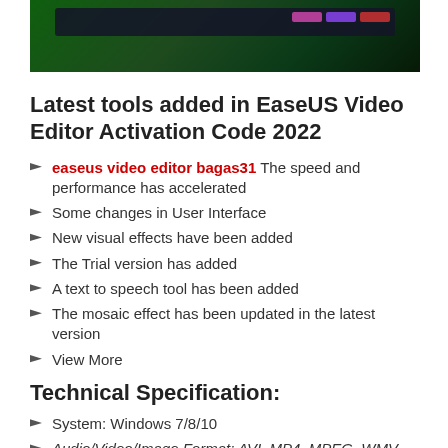[Figure (screenshot): Screenshot of EaseUS Video Editor software interface with dark green aurora-like background]
Latest tools added in EaseUS Video Editor Activation Code 2022
easeus video editor bagas31 The speed and performance has accelerated
Some changes in User Interface
New visual effects have been added
The Trial version has added
A text to speech tool has been added
The mosaic effect has been updated in the latest version
View More
Technical Specification:
System: Windows 7/8/10
Audio/Video/Image Format: AVI, MP4, MPEG, WMV, MP3...